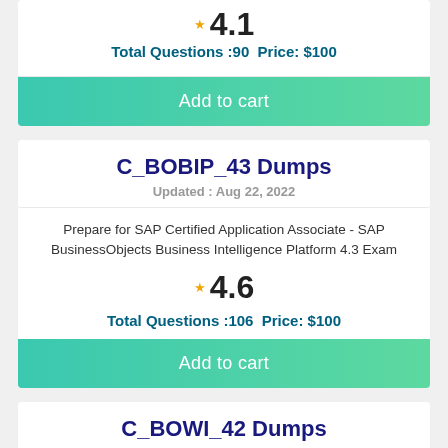4.1
Total Questions :90  Price: $100
Add to cart
C_BOBIP_43 Dumps
Updated : Aug 22, 2022
Prepare for SAP Certified Application Associate - SAP BusinessObjects Business Intelligence Platform 4.3 Exam
4.6
Total Questions :106  Price: $100
Add to cart
C_BOWI_42 Dumps
Updated : Aug 22, 2022
Prepare for SAP Certified Application Associate - SAP BusinessObjects Web Intelligence 4.2 Exam